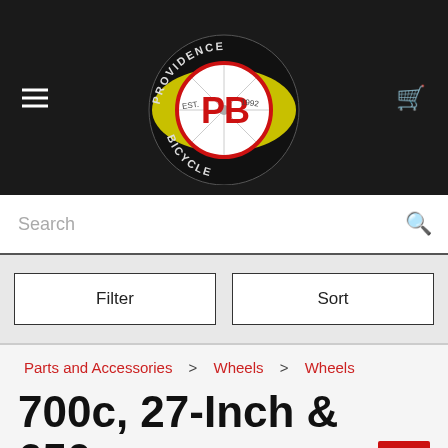[Figure (logo): Providence Bicycle logo — circular bicycle wheel design with yellow oval, red PB letters, EST. 1992 text, on black background with hamburger menu left and cart icon right]
Search
Filter
Sort
Parts and Accessories > Wheels > Wheels
700c, 27-Inch & 650c